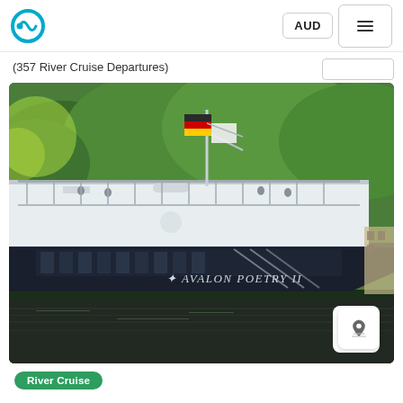AUD | menu
(357 River Cruise Departures)
[Figure (photo): River cruise ship named 'Avalon Poetry II' on a river surrounded by green trees and hills. A German flag is visible on the mast. Passengers visible on the upper deck.]
River Cruise